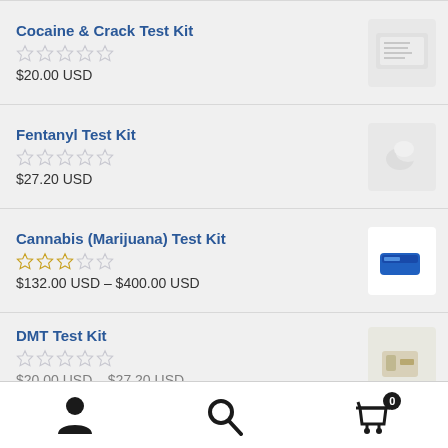Cocaine & Crack Test Kit
☆☆☆☆☆
$20.00 USD
Fentanyl Test Kit
☆☆☆☆☆
$27.20 USD
Cannabis (Marijuana) Test Kit
☆☆☆☆☆
$132.00 USD – $400.00 USD
DMT Test Kit
☆☆☆☆☆
$20.00 USD – $27.20 USD
User account | Search | Cart (0)